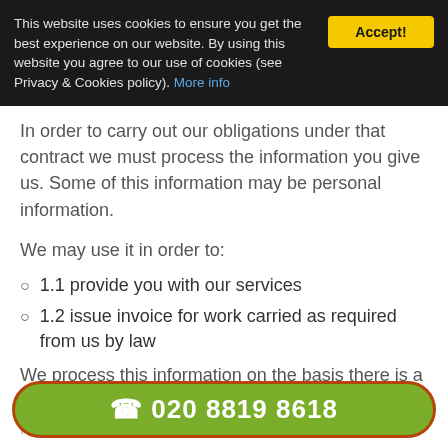This website uses cookies to ensure you get the best experience on our website. By using this website you agree to our use of cookies (see Privacy & Cookies policy). More info
Accept!
In order to carry out our obligations under that contract we must process the information you give us. Some of this information may be personal information.
We may use it in order to:
1.1 provide you with our services
1.2 issue invoice for work carried as required from us by law
We process this information on the basis there is a contract between us, or that you have
☎ 020 8819 8618